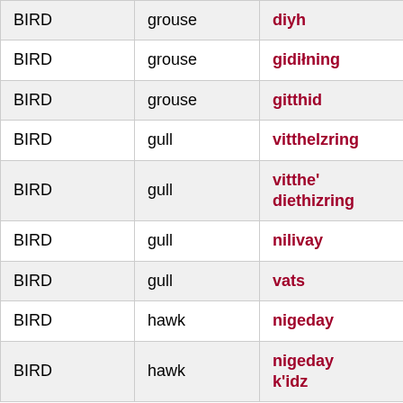| BIRD | grouse | diyh | diyh | ti… |
| BIRD | grouse | gidiłning | gidiłning | kiti |
| BIRD | grouse | gitthid | gitthid | kit€ |
| BIRD | gull | vitthelzring | vitthelzring | vit€ |
| BIRD | gull | vitthe' diethizring | vitthe' diethizring | vit€ tie: |
| BIRD | gull | nilivay | nilivay | nili |
| BIRD | gull | vats | vats | va: |
| BIRD | hawk | nigeday | nigeday | nik |
| BIRD | hawk | nigeday k'idz | nigeday k'idz | nik |